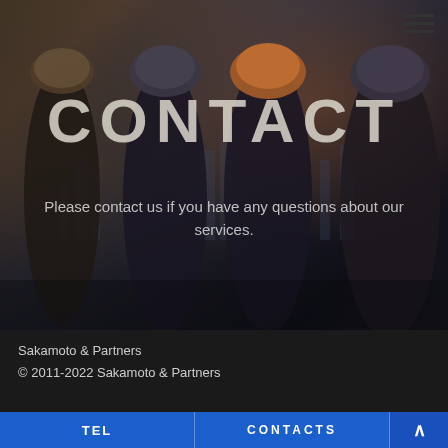[Figure (photo): Construction workers in hard hats silhouetted against a city skyline, dark blue-brown toned hero image background]
CONTACT
Please contact us if you have any questions about our services.
Sakamoto & Partners
© 2011-2022 Sakamoto & Partners
TEL  CONTACTS  ∧